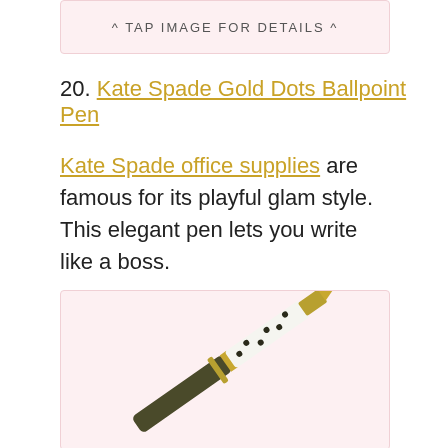[Figure (other): Tap image for details banner with pink background]
20. Kate Spade Gold Dots Ballpoint Pen
Kate Spade office supplies are famous for its playful glam style. This elegant pen lets you write like a boss.
[Figure (photo): Photo of Kate Spade Gold Dots Ballpoint Pen — a dark olive/gold metallic pen with white polka-dot section]